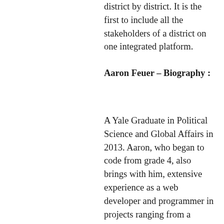district by district. It is the first to include all the stakeholders of a district on one integrated platform.
Aaron Feuer – Biography :
A Yale Graduate in Political Science and Global Affairs in 2013. Aaron, who began to code from grade 4, also brings with him, extensive experience as a web developer and programmer in projects ranging from a desktop widget app for Google to album promotion for Madonna to a Facebook app for National Public Radio. Shocked by the fact that of his freshman class of 1600 students, only about 800